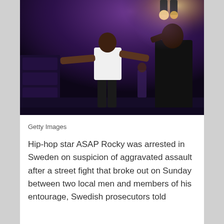[Figure (photo): Two performers on a concert stage under purple lighting. One performer in a white t-shirt and dark shorts stands with arms outstretched; another in dark clothing stands to the right. Stage equipment and audience visible in background.]
Getty Images
Hip-hop star ASAP Rocky was arrested in Sweden on suspicion of aggravated assault after a street fight that broke out on Sunday between two local men and members of his entourage, Swedish prosecutors told